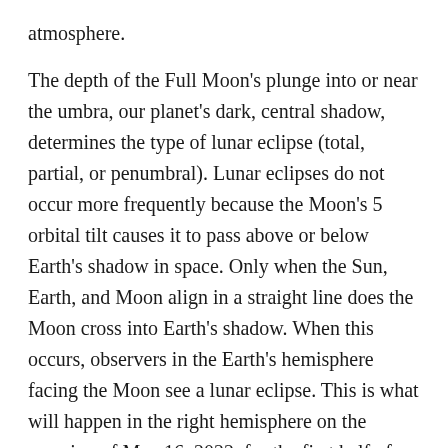atmosphere.
The depth of the Full Moon's plunge into or near the umbra, our planet's dark, central shadow, determines the type of lunar eclipse (total, partial, or penumbral). Lunar eclipses do not occur more frequently because the Moon's 5 orbital tilt causes it to pass above or below Earth's shadow in space. Only when the Sun, Earth, and Moon align in a straight line does the Moon cross into Earth's shadow. When this occurs, observers in the Earth's hemisphere facing the Moon see a lunar eclipse. This is what will happen in the right hemisphere on the morning of May 16, 2022, for the first half of the eclipse.
Lunar Eclipse 2022: The Super Flower Blood Moon